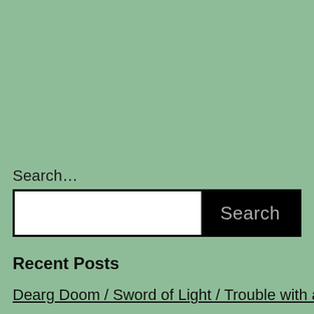Search…
[Figure (screenshot): Search input bar with white text field on the left and a black Search button on the right]
Recent Posts
Dearg Doom / Sword of Light / Trouble with a